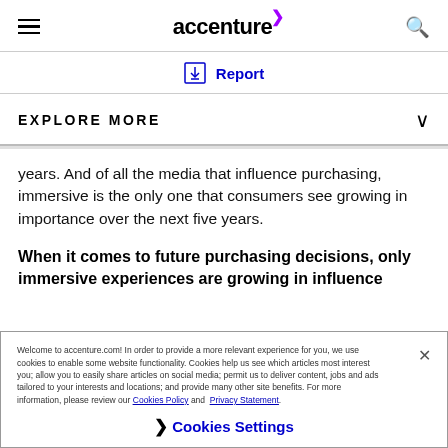accenture
Report
EXPLORE MORE
years. And of all the media that influence purchasing, immersive is the only one that consumers see growing in importance over the next five years.
When it comes to future purchasing decisions, only immersive experiences are growing in influence
Welcome to accenture.com! In order to provide a more relevant experience for you, we use cookies to enable some website functionality. Cookies help us see which articles most interest you; allow you to easily share articles on social media; permit us to deliver content, jobs and ads tailored to your interests and locations; and provide many other site benefits. For more information, please review our Cookies Policy and Privacy Statement.
Cookies Settings